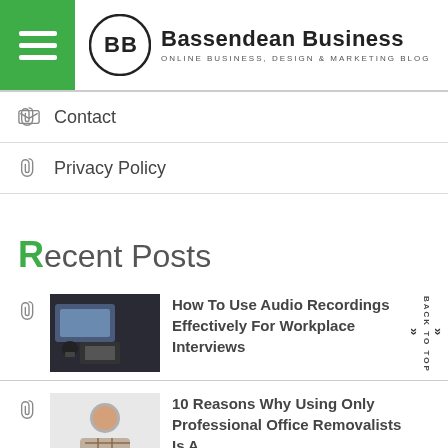Bassendean Business — ONLINE BUSINESS, DESIGN & MARKETING BLOG
Contact
Privacy Policy
Recent Posts
How To Use Audio Recordings Effectively For Workplace Interviews
10 Reasons Why Using Only Professional Office Removalists Is A